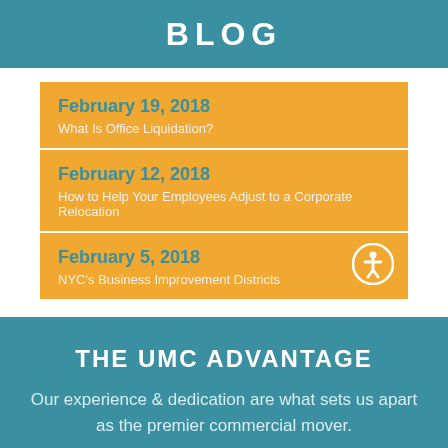BLOG
February 19, 2018
What Is Office Liquidation?
February 12, 2018
How to Help Your Employees Adjust to a Corporate Relocation
February 5, 2018
NYC's Business Improvement Districts
THE UMC ADVANTAGE
Our experience & dedication are what sets us apart as the premier commercial mover.